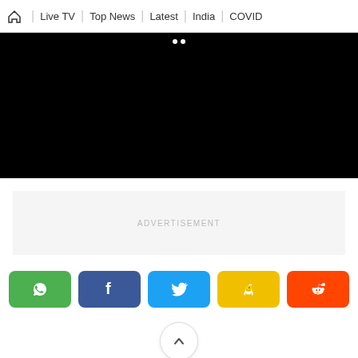🏠 | Live TV | Top News | Latest | India | COVID
[Figure (screenshot): Black video player area with two white dots at top center]
ADVERTISEMENT
[Figure (infographic): Social share buttons row: WhatsApp (green), Facebook (dark blue), Twitter (light blue), Koo (yellow), Reddit (orange-red)]
[Figure (other): Scroll-to-top circular button with upward arrow]
[Figure (other): Partial blue rounded button at bottom]